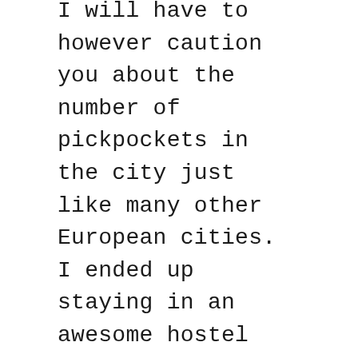I will have to however caution you about the number of pickpockets in the city just like many other European cities. I ended up staying in an awesome hostel where I met some wonderful folks who took me pub hopping and salsa dancing. I would love to go one day back to this city that grew on me after spending a few days.
Some of the things to do in Madrid are: